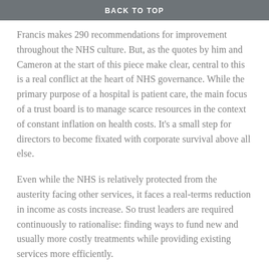BACK TO TOP
Francis makes 290 recommendations for improvement throughout the NHS culture. But, as the quotes by him and Cameron at the start of this piece make clear, central to this is a real conflict at the heart of NHS governance. While the primary purpose of a hospital is patient care, the main focus of a trust board is to manage scarce resources in the context of constant inflation on health costs. It’s a small step for directors to become fixated with corporate survival above all else.
Even while the NHS is relatively protected from the austerity facing other services, it faces a real-terms reduction in income as costs increase. So trust leaders are required continuously to rationalise: finding ways to fund new and usually more costly treatments while providing existing services more efficiently.
In order to do this, they need to prioritise and this calls for